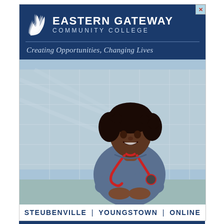[Figure (logo): Eastern Gateway Community College logo with flame/swoosh icon on dark blue background]
Eastern Gateway Community College
Creating Opportunities, Changing Lives
[Figure (photo): Smiling young Black woman in blue nursing scrubs with red stethoscope, arms crossed, standing in front of a modern glass building]
Steubenville | Youngstown | Online